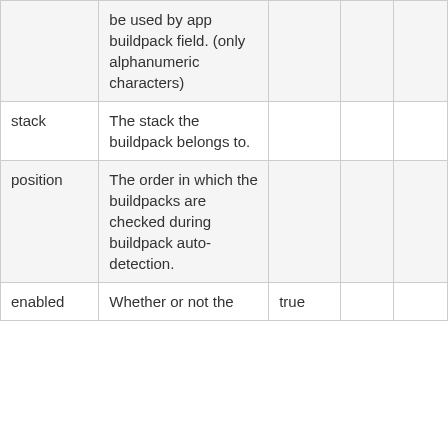|  | be used by app buildpack field. (only alphanumeric characters) |  |  |  |
| stack | The stack the buildpack belongs to. |  |  |  |
| position | The order in which the buildpacks are checked during buildpack auto-detection. |  |  |  |
| enabled | Whether or not the | true |  |  |